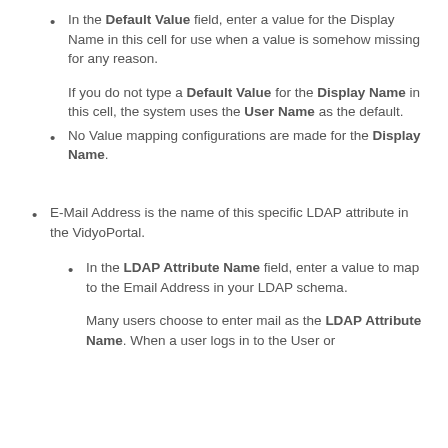In the Default Value field, enter a value for the Display Name in this cell for use when a value is somehow missing for any reason.

If you do not type a Default Value for the Display Name in this cell, the system uses the User Name as the default.
No Value mapping configurations are made for the Display Name.
E-Mail Address is the name of this specific LDAP attribute in the VidyoPortal.
In the LDAP Attribute Name field, enter a value to map to the Email Address in your LDAP schema.

Many users choose to enter mail as the LDAP Attribute Name. When a user logs in to the User or